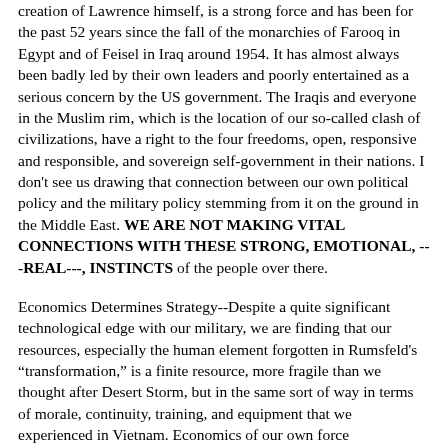creation of Lawrence himself, is a strong force and has been for the past 52 years since the fall of the monarchies of Farooq in Egypt and of Feisel in Iraq around 1954. It has almost always been badly led by their own leaders and poorly entertained as a serious concern by the US government. The Iraqis and everyone in the Muslim rim, which is the location of our so-called clash of civilizations, have a right to the four freedoms, open, responsive and responsible, and sovereign self-government in their nations. I don't see us drawing that connection between our own political policy and the military policy stemming from it on the ground in the Middle East. WE ARE NOT MAKING VITAL CONNECTIONS WITH THESE STRONG, EMOTIONAL, ---REAL---, INSTINCTS of the people over there.
Economics Determines Strategy--Despite a quite significant technological edge with our military, we are finding that our resources, especially the human element forgotten in Rumsfeld's "transformation," is a finite resource, more fragile than we thought after Desert Storm, but in the same sort of way in terms of morale, continuity, training, and equipment that we experienced in Vietnam. Economics of our own force